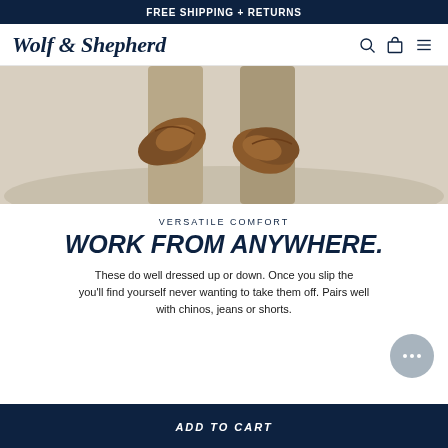FREE SHIPPING + RETURNS
Wolf & Shepherd
[Figure (photo): Close-up photo of person's lower body wearing khaki chinos and holding brown leather loafer shoes, with a beach/outdoor background.]
VERSATILE COMFORT
WORK FROM ANYWHERE.
These do well dressed up or down. Once you slip them on, you'll find yourself never wanting to take them off. Pairs well with chinos, jeans or shorts.
ADD TO CART